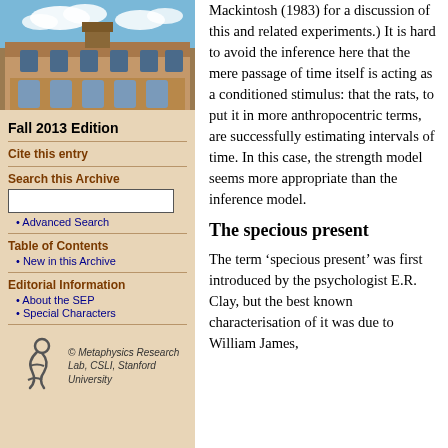[Figure (photo): Photograph of a historic stone university building with gothic architecture under a blue sky with clouds]
Fall 2013 Edition
Cite this entry
Search this Archive
Advanced Search
Table of Contents
New in this Archive
Editorial Information
About the SEP
Special Characters
[Figure (logo): Metaphysics Research Lab, CSLI, Stanford University logo with stylized figure]
Mackintosh (1983) for a discussion of this and related experiments.) It is hard to avoid the inference here that the mere passage of time itself is acting as a conditioned stimulus: that the rats, to put it in more anthropocentric terms, are successfully estimating intervals of time. In this case, the strength model seems more appropriate than the inference model.
The specious present
The term 'specious present' was first introduced by the psychologist E.R. Clay, but the best known characterisation of it was due to William James,